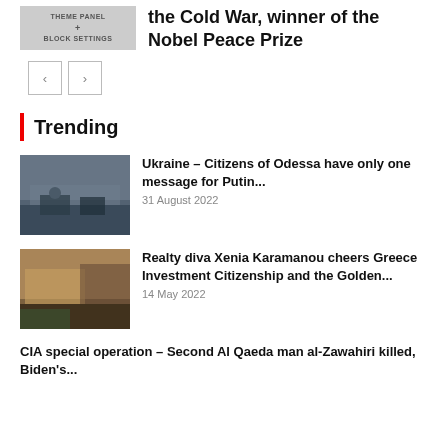[Figure (screenshot): Gray UI block showing 'THEME PANEL + BLOCK SETTINGS' text]
the Cold War, winner of the Nobel Peace Prize
[Figure (other): Navigation left and right arrow buttons]
Trending
[Figure (photo): Military scene in Ukraine, Odessa, soldiers with equipment in city street]
Ukraine – Citizens of Odessa have only one message for Putin...
31 August 2022
[Figure (photo): Woman standing outside modern building with greenery, real estate photo]
Realty diva Xenia Karamanou cheers Greece Investment Citizenship and the Golden...
14 May 2022
CIA special operation – Second Al Qaeda man al-Zawahiri killed, Biden's...